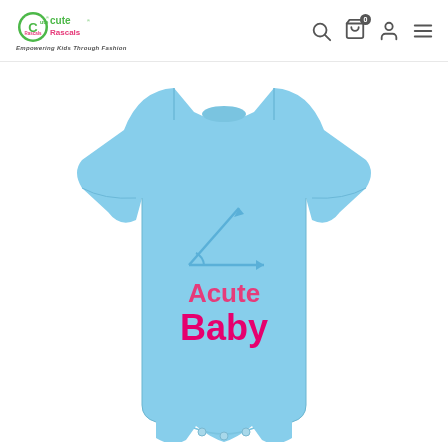[Figure (logo): Cute Rascals logo - green circular emblem with 'Cute Rascals' text and tagline 'Empowering Kids Through Fashion']
[Figure (photo): Light blue baby onesie/bodysuit with an acute angle diagram in blue and text 'Acute Baby' in pink/magenta font printed on the front]